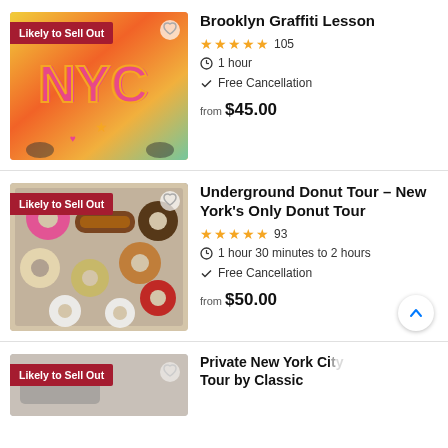[Figure (photo): Brooklyn Graffiti Lesson photo showing colorful NYC graffiti art on a wall with people posing in front, badge 'Likely to Sell Out']
Brooklyn Graffiti Lesson
★★★★★ 105
1 hour
Free Cancellation
from $45.00
[Figure (photo): Underground Donut Tour photo showing assorted donuts on a tray from above, badge 'Likely to Sell Out']
Underground Donut Tour - New York's Only Donut Tour
★★★★★ 93
1 hour 30 minutes to 2 hours
Free Cancellation
from $50.00
[Figure (photo): Private New York City Tour by Classic - partially visible, badge 'Likely to Sell Out']
Private New York City Tour by Classic